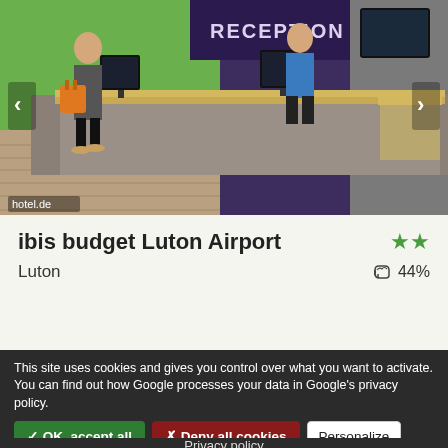[Figure (photo): Hotel reception area with a long wooden-topped concrete desk, green wall, staff in blue uniform, and a woman with an orange bag. hotel.de watermark in bottom left.]
ibis budget Luton Airport
Luton   ★★   👍 44%
This site uses cookies and gives you control over what you want to activate. You can find out how Google processes your data in Google's privacy policy.
✓ OK, accept all   ✗ Deny all cookies   Personalize
Privacy policy